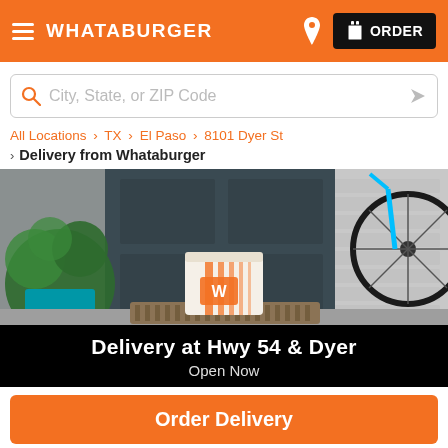Whataburger — ORDER
City, State, or ZIP Code
All Locations > TX > El Paso > 8101 Dyer St
> Delivery from Whataburger
[Figure (photo): A Whataburger delivery bag sitting on a doormat in front of a dark door, with a potted plant and bicycle visible in the background. Overlay text reads: Delivery at Hwy 54 & Dyer / Open Now]
Order Delivery